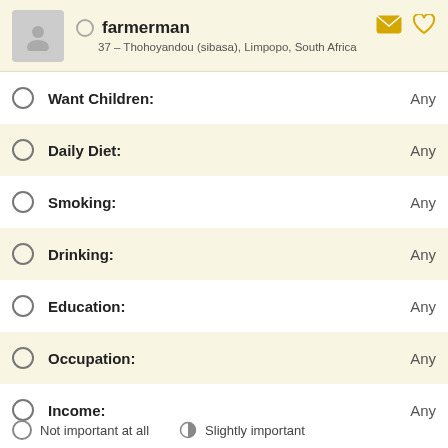farmerman – 37 – Thohoyandou (sibasa), Limpopo, South Africa
Want Children: Any
Daily Diet: Any
Smoking: Any
Drinking: Any
Education: Any
Occupation: Any
Income: Any
Not important at all   Slightly important